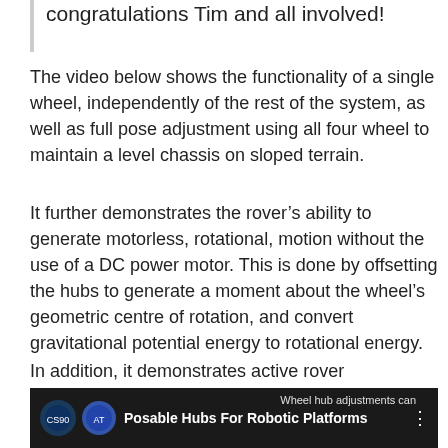congratulations Tim and all involved!
The video below shows the functionality of a single wheel, independently of the rest of the system, as well as full pose adjustment using all four wheel to maintain a level chassis on sloped terrain.
It further demonstrates the rover's ability to generate motorless, rotational, motion without the use of a DC power motor. This is done by offsetting the hubs to generate a moment about the wheel's geometric centre of rotation, and convert gravitational potential energy to rotational energy.
In addition, it demonstrates active rover wheelbase adjustment which helps the rover dig itself out of a bog.
[Figure (screenshot): Video thumbnail with dark background showing 'Posable Hubs For Robotic Platforms' title and logos, with overlay text 'Wheel hub adjustments can' visible on right side.]